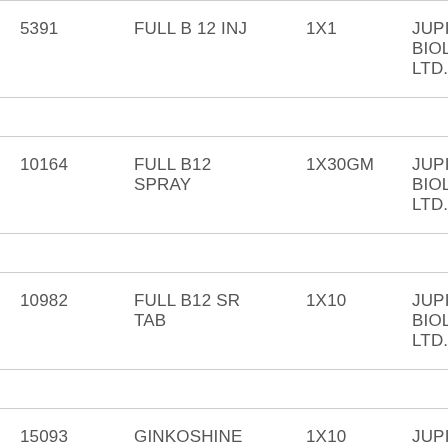| 5391 | FULL B 12 INJ | 1X1 | JUPI BIOL LTD. |
| 10164 | FULL B12 SPRAY | 1X30GM | JUPI BIOL LTD. |
| 10982 | FULL B12 SR TAB | 1X10 | JUPI BIOL LTD. |
| 15093 | GINKOSHINE TAB | 1X10 | JUPI BIOL |